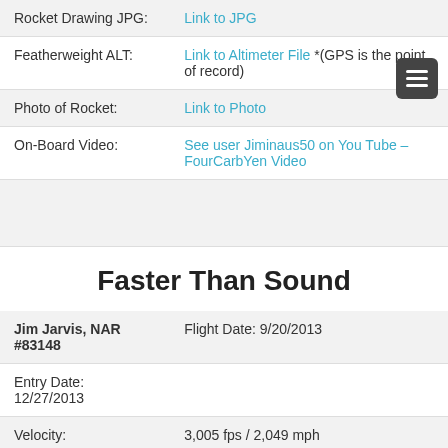| Rocket Drawing JPG: | Link to JPG |
| Featherweight ALT: | Link to Altimeter File *(GPS is the point of record) |
| Photo of Rocket: | Link to Photo |
| On-Board Video: | See user Jiminaus50 on You Tube – FourCarbYen Video |
|  |  |
Faster Than Sound
| Jim Jarvis, NAR #83148 | Flight Date: 9/20/2013 |
| Entry Date: 12/27/2013 |  |
| Velocity: | 3,005 fps / 2,049 mph |
| Featherweight ALT: | Link to Altimeter File |
|  |  |